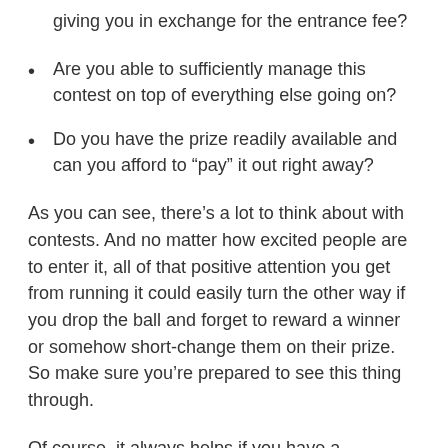giving you in exchange for the entrance fee?
Are you able to sufficiently manage this contest on top of everything else going on?
Do you have the prize readily available and can you afford to “pay” it out right away?
As you can see, there’s a lot to think about with contests. And no matter how excited people are to enter it, all of that positive attention you get from running it could easily turn the other way if you drop the ball and forget to reward a winner or somehow short-change them on their prize. So make sure you’re prepared to see this thing through.
Of course, it always helps if you have a WordPress plugin to help lighten your load.